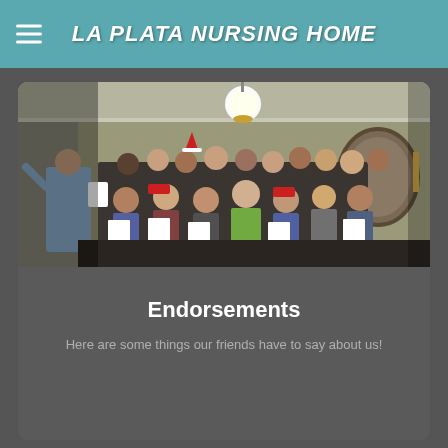LA PLATA NURSING HOME
[Figure (photo): Group of young people singing in a room, led by a conductor on the left, with a ceiling light visible, likely a choir performing at the nursing home.]
Endorsements
Here are some things our friends have to say about us!